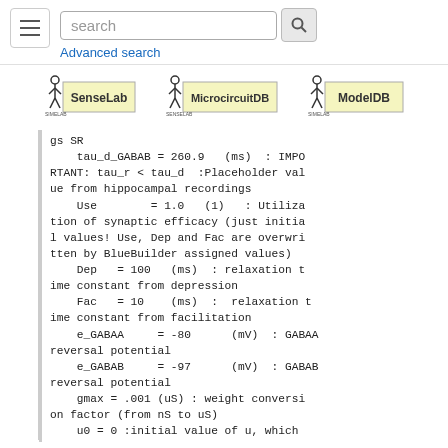search [search button] Advanced search
[Figure (logo): SenseLab logo]
[Figure (logo): MicrocircuitDB logo]
[Figure (logo): ModelDB logo]
gs SR
    tau_d_GABAB = 260.9   (ms)  : IMPORTANT: tau_r < tau_d  :Placeholder value from hippocampal recordings
    Use        = 1.0   (1)   : Utilization of synaptic efficacy (just initial values! Use, Dep and Fac are overwritten by BlueBuilder assigned values)
    Dep   = 100   (ms)  : relaxation time constant from depression
    Fac   = 10    (ms)  :  relaxation time constant from facilitation
    e_GABAA     = -80      (mV)  : GABAA reversal potential
    e_GABAB     = -97      (mV)  : GABAB reversal potential
    gmax = .001 (uS) : weight conversion factor (from nS to uS)
    u0 = 0 :initial value of u, which